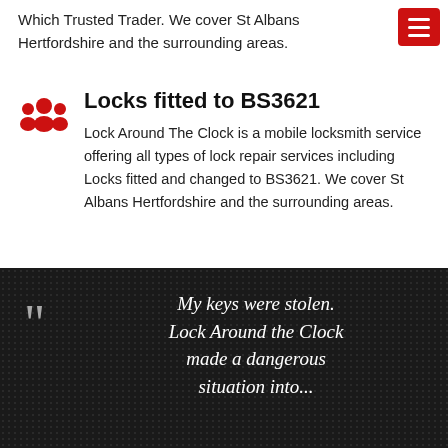Which Trusted Trader. We cover St Albans Hertfordshire and the surrounding areas.
[Figure (illustration): Red hamburger/menu button icon in top right corner]
[Figure (illustration): Red group/people icon representing community or clients]
Locks fitted to BS3621
Lock Around The Clock is a mobile locksmith service offering all types of lock repair services including Locks fitted and changed to BS3621. We cover St Albans Hertfordshire and the surrounding areas.
My keys were stolen. Lock Around the Clock made a dangerous situation into...